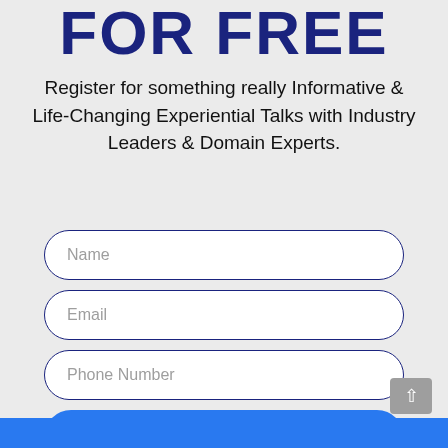FOR FREE
Register for something really Informative & Life-Changing Experiential Talks with Industry Leaders & Domain Experts.
[Figure (other): Web registration form with three input fields (Name, Email, Phone Number) and a Send button]